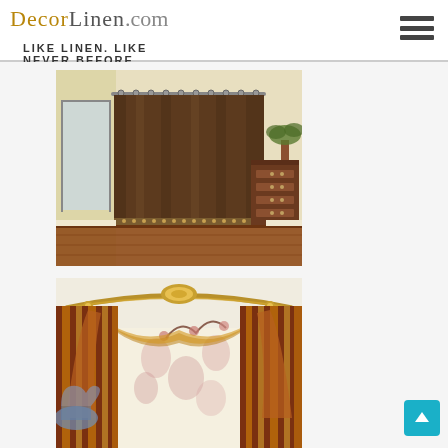DecorLinen.com — LIKE LINEN. LIKE NEVER BEFORE
[Figure (photo): Brown linen curtains hung on a rod in a room with wooden flooring and a dresser, curtains have a decorative trim at the bottom]
[Figure (photo): Elegant striped curtains in rust and gold tones with an ornate gold cornice/valance, with a floral wallpaper visible in the background]